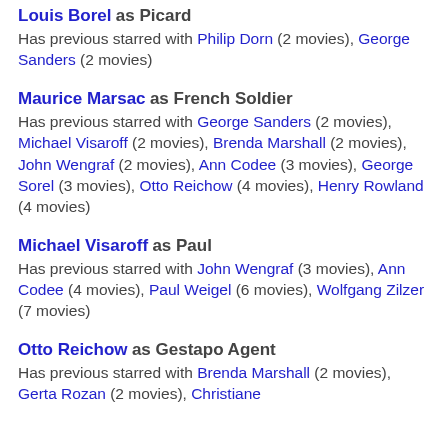Louis Borel as Picard
Has previous starred with Philip Dorn (2 movies), George Sanders (2 movies)
Maurice Marsac as French Soldier
Has previous starred with George Sanders (2 movies), Michael Visaroff (2 movies), Brenda Marshall (2 movies), John Wengraf (2 movies), Ann Codee (3 movies), George Sorel (3 movies), Otto Reichow (4 movies), Henry Rowland (4 movies)
Michael Visaroff as Paul
Has previous starred with John Wengraf (3 movies), Ann Codee (4 movies), Paul Weigel (6 movies), Wolfgang Zilzer (7 movies)
Otto Reichow as Gestapo Agent
Has previous starred with Brenda Marshall (2 movies), Gerta Rozan (2 movies), Christiane